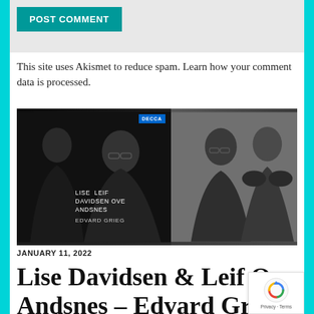POST COMMENT
This site uses Akismet to reduce spam. Learn how your comment data is processed.
[Figure (photo): Album cover for Lise Davidsen and Leif Ove Andsnes performing Edvard Grieg, on Decca label. Black and white photo of two performers. Left half shows album cover text overlay: LISE DAVIDSEN / LEIF OVE ANDSNES / EDVARD GRIEG with Decca logo. Right half shows the two artists standing back to back.]
JANUARY 11, 2022
Lise Davidsen & Leif Ove Andsnes – Edvard Grieg